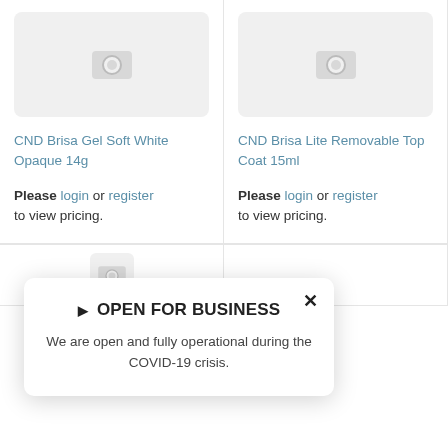[Figure (photo): Product image placeholder (camera icon) for CND Brisa Gel Soft White Opaque 14g]
[Figure (photo): Product image placeholder (camera icon) for CND Brisa Lite Removable Top Coat 15ml]
CND Brisa Gel Soft White Opaque 14g
CND Brisa Lite Removable Top Coat 15ml
Please login or register to view pricing.
Please login or register to view pricing.
▶ OPEN FOR BUSINESS
We are open and fully operational during the COVID-19 crisis.